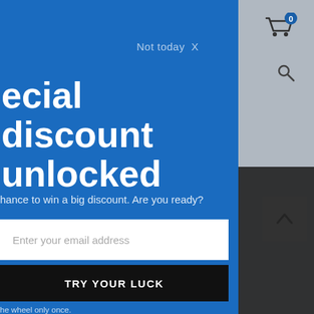[Figure (screenshot): E-commerce website background showing gray header with shopping cart icon showing 0 items, search icon, back-to-top button, and partial product image area]
[Figure (screenshot): Dark overlay notification popup in bottom right: text about allowing cookies on the site with a checkmark]
[Figure (screenshot): Blue promotional modal overlay on left side with 'Not today X' dismiss option, 'ecial discount unlocked' heading, subtitle about winning a big discount, email input field, TRY YOUR LUCK button, and footer text about spinning the wheel once and claiming coupon]